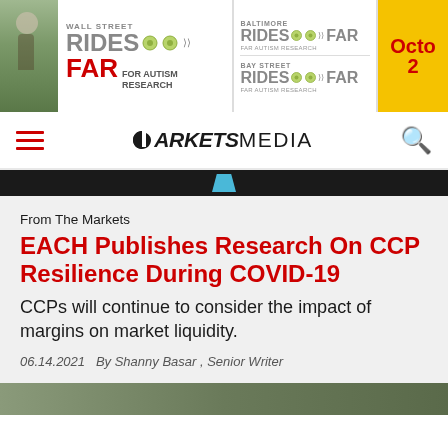[Figure (screenshot): Banner advertisement for Wall Street Rides Far, Baltimore Rides Far, Bay Street Rides Far for Autism Research events, with an October date in yellow panel]
MARKETS MEDIA
From The Markets
EACH Publishes Research On CCP Resilience During COVID-19
CCPs will continue to consider the impact of margins on market liquidity.
06.14.2021   By Shanny Basar , Senior Writer